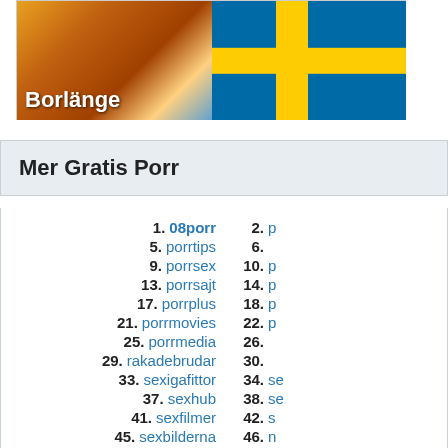[Figure (photo): Composite image showing a person on the left side and Swedish flag on the right, with text 'Borlänge' overlaid on the bottom left]
Mer Gratis Porr
1. 08porr
2. (truncated)
5. porrtips
6. (truncated)
9. porrsex
10. (truncated)
13. porrsajt
14. (truncated)
17. porrplus
18. (truncated)
21. porrmovies
22. (truncated)
25. porrmedia
26. (truncated)
29. rakadebrudar
30. (truncated)
33. sexigafittor
34. (truncated)
37. sexhub
38. (truncated)
41. sexfilmer
42. (truncated)
45. sexbilderna
46. (truncated)
49. semesterknull
50. (truncated)